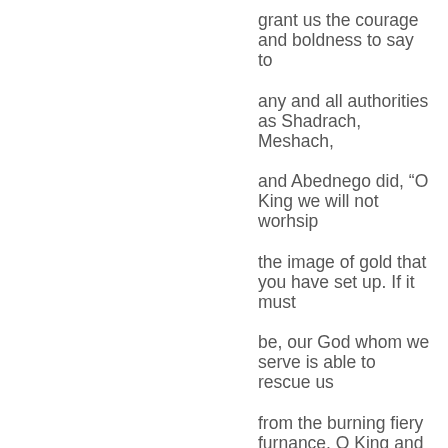grant us the courage and boldness to say to any and all authorities as Shadrach, Meshach, and Abednego did, “O King we will not worhsip the image of gold that you have set up. If it must be, our God whom we serve is able to rescue us from the burning fiery furnance, O King and to rescue us from your hand. And if we suffer according to the will of God, we will commit the keeping of our souls to him for safe keeping as unto our faithful, sovereign, gracious, loving, merciful, omniscient,